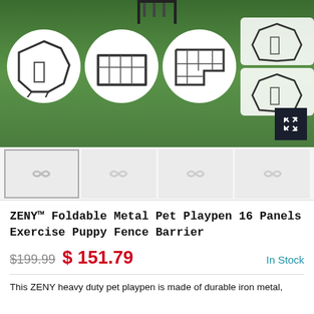[Figure (photo): Product main image showing ZENY pet playpen on green grass background with four circular inset diagrams showing different configurations of the metal fence panels, plus an expand button in bottom right corner]
[Figure (photo): Four thumbnail images below the main product image, showing alternate views of the product. Thumbnails appear as loading placeholders with infinity/loop icons.]
ZENY™ Foldable Metal Pet Playpen 16 Panels Exercise Puppy Fence Barrier
$199.99  $151.79  In Stock
This ZENY heavy duty pet playpen is made of durable iron metal,